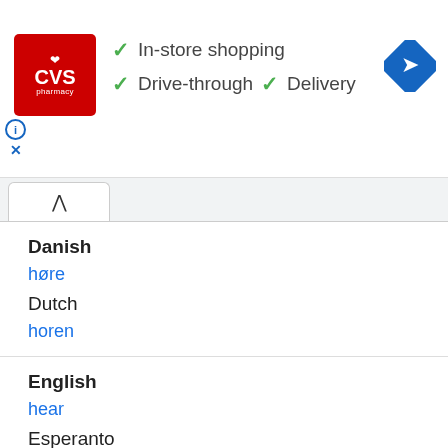[Figure (logo): CVS Pharmacy advertisement banner showing logo with checkmarks for In-store shopping, Drive-through, and Delivery]
Danish
høre
Dutch
horen
English
hear
Esperanto
aŭdi
Estonian
kuulma